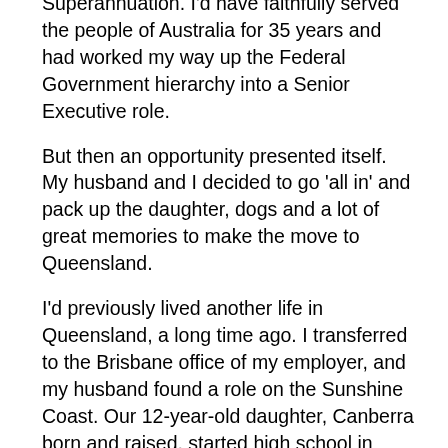Superannuation. I'd have faithfully served the people of Australia for 35 years and had worked my way up the Federal Government hierarchy into a Senior Executive role.
But then an opportunity presented itself. My husband and I decided to go 'all in' and pack up the daughter, dogs and a lot of great memories to make the move to Queensland.
I'd previously lived another life in Queensland, a long time ago. I transferred to the Brisbane office of my employer, and my husband found a role on the Sunshine Coast. Our 12-year-old daughter, Canberra born and raised, started high school in warmer climes. Everything fell into place. We waved goodbye to my eldest daughter and my son, both living